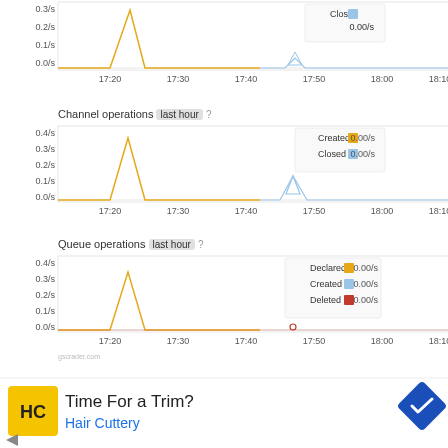[Figure (line-chart): Connection operations (top chart)]
Channel operations last hour ?
[Figure (line-chart): Channel operations]
Queue operations last hour ?
[Figure (line-chart): Queue operations]
Ports and contexts
[Figure (screenshot): Dropdown chevron button]
[Figure (infographic): Advertisement banner: Time For a Trim? Hair Cuttery]